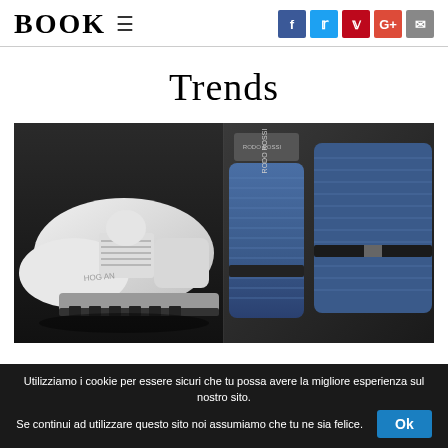BOOK ≡ [social icons: f, tw, p, G+, email]
Trends
[Figure (photo): Two shoe photos side by side: left shows a white sneaker on black background in black and white, right shows blue textured loafers/slides with brand label 'Rodo Rossi' visible]
Utilizziamo i cookie per essere sicuri che tu possa avere la migliore esperienza sul nostro sito. Se continui ad utilizzare questo sito noi assumiamo che tu ne sia felice.
Ok